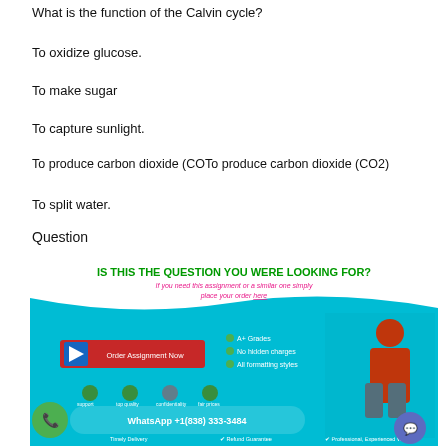What is the function of the Calvin cycle?
To oxidize glucose.
To make sugar
To capture sunlight.
To produce carbon dioxide (COTo produce carbon dioxide (CO2)
To split water.
Question
[Figure (infographic): Promotional banner: IS THIS THE QUESTION YOU WERE LOOKING FOR? If you need this assignment or a similar one simply place your order here. Order Assignment Now button. WhatsApp +1(838) 333-3484. Features: A+ Grades, No hidden charges, All formatting styles. Woman sitting with book.]